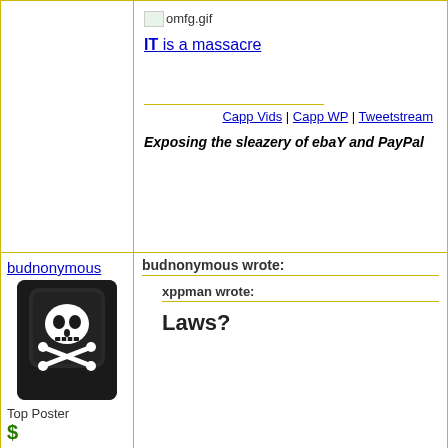[Figure (other): Top-left cell: empty white area with yellow border]
[Figure (other): omfg.gif image placeholder icon]
IT is a massacre
Capp Vids | Capp WP | Tweetstream
Exposing the sleazery of ebaY and PayPal
budnonymous
[Figure (photo): Black keyboard key with skull and crossbones icon (piracy/danger symbol)]
Top Poster
$
Status: Offline
Posts: 3757
budnonymous wrote:
xppman wrote:
Laws?